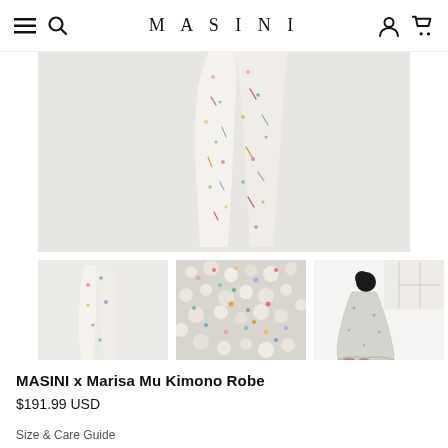MASINI
[Figure (photo): Close-up of a floral kimono robe hanging, showing colorful print on white/cream fabric against a light grey background]
[Figure (photo): Thumbnail 1: Front view of MASINI x Marisa Mu Kimono Robe, white with colorful print]
[Figure (photo): Thumbnail 2: Close-up detail of the colorful floral print fabric]
[Figure (photo): Thumbnail 3: Model wearing the kimono robe, seen from behind in a bright room]
MASINI x Marisa Mu Kimono Robe
$191.99 USD
Size & Care Guide